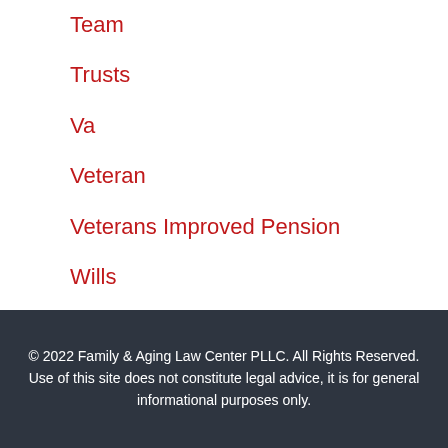Team
Trusts
Va
Veteran
Veterans Improved Pension
Wills
Young Kids
© 2022 Family & Aging Law Center PLLC. All Rights Reserved. Use of this site does not constitute legal advice, it is for general informational purposes only.